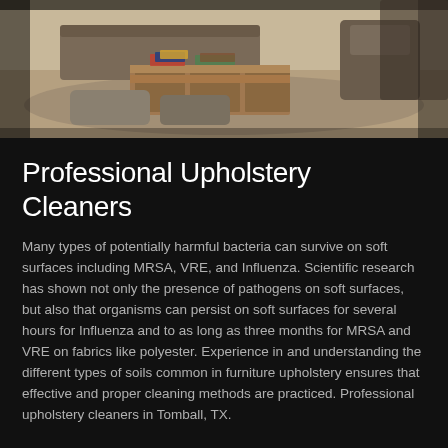[Figure (photo): Interior photo of a living room with a wooden coffee table, grey cushions/ottomans on the floor, magazines on the table, and upholstered furniture visible in the background.]
Professional Upholstery Cleaners
Many types of potentially harmful bacteria can survive on soft surfaces including MRSA, VRE, and Influenza. Scientific research has shown not only the presence of pathogens on soft surfaces, but also that organisms can persist on soft surfaces for several hours for Influenza and to as long as three months for MRSA and VRE on fabrics like polyester. Experience in and understanding the different types of soils common in furniture upholstery ensures that effective and proper cleaning methods are practiced. Professional upholstery cleaners in Tomball, TX.